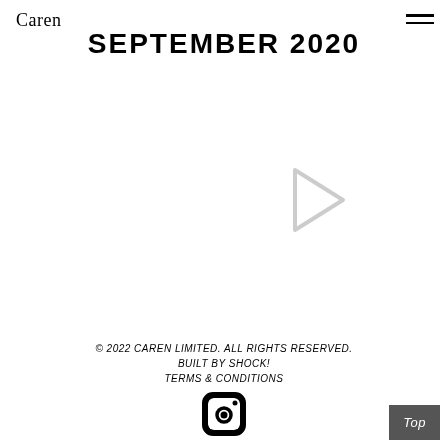Caren
SEPTEMBER 2020
[Figure (other): Play button icon (triangle shape, light gray outline)]
© 2022 CAREN LIMITED. ALL RIGHTS RESERVED. BUILT BY SHOCK! TERMS & CONDITIONS
[Figure (other): Instagram icon (camera logo in black)]
Top